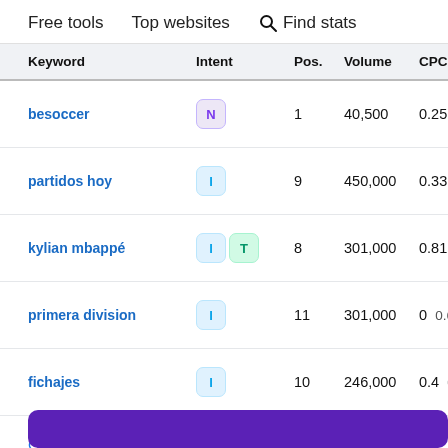Free tools   Top websites   🔍 Find stats
| Keyword | Intent | Pos. | Volume | CPC(USD) Tra |
| --- | --- | --- | --- | --- |
| besoccer | N | 1 | 40,500 | 0.25 | 3.55 |
| partidos hoy | I | 9 | 450,000 | 0.33 | 1.18 |
| kylian mbappé | I T | 8 | 301,000 | 0.81 | 0.79 |
| primera division | I | 11 | 301,000 | 0 | 0.62 |
| fichajes | I | 10 | 246,000 | 0.4 | 0.59 |
Get marketing insights and Monitor trends
[Figure (other): Purple banner bar at bottom of page]